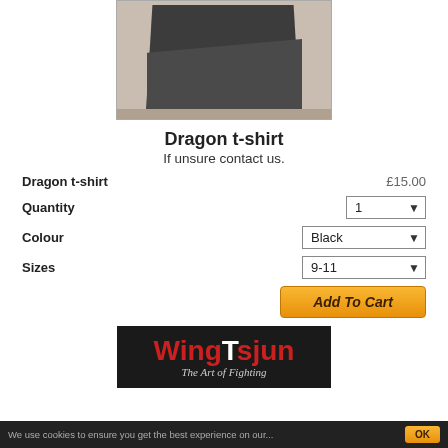[Figure (photo): Product photo of a dark grey/black Dragon t-shirt laid flat on a wooden surface, cropped at top]
Dragon t-shirt
If unsure contact us.
| Dragon t-shirt | £15.00 |
| Quantity | 1 |
| Colour | Black |
| Sizes | 9-11 |
[Figure (logo): WingTsjun logo — black background, red and white stylized text reading WingTsjun with tagline The Art of Fighting]
We use cookies to ensure you get the best experience on our...